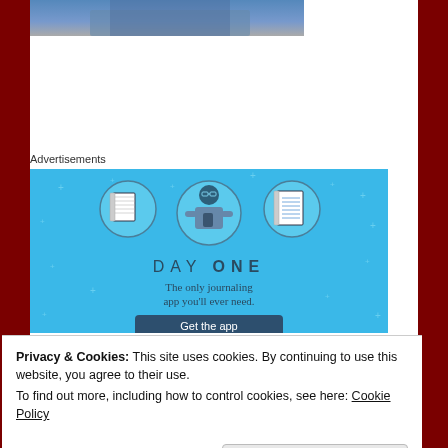[Figure (photo): Partial photo visible at top of page, appears to show a person in blue clothing]
Advertisements
[Figure (infographic): Day One app advertisement on blue background. Shows illustration of a person with notebook and lined-notebook icons in circles. Text reads 'DAY ONE - The only journaling app you'll ever need.' with a 'Get the app' button.]
Privacy & Cookies: This site uses cookies. By continuing to use this website, you agree to their use.
To find out more, including how to control cookies, see here: Cookie Policy
Close and accept
stems from JAWS strangely, so Spielberg once...